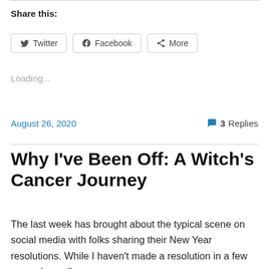Share this:
Twitter  Facebook  More
Loading...
August 26, 2020
3 Replies
Why I've Been Off: A Witch's Cancer Journey
The last week has brought about the typical scene on social media with folks sharing their New Year resolutions. While I haven't made a resolution in a few years, I usually like...